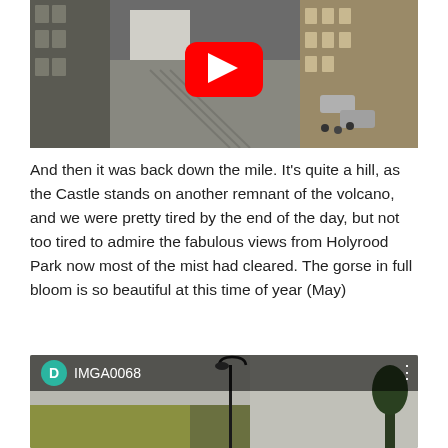[Figure (screenshot): YouTube video thumbnail showing an aerial/elevated view of an Edinburgh street scene with cobblestones, rooftops, buildings and a YouTube play button overlay in the center]
And then it was back down the mile. It's quite a hill, as the Castle stands on another remnant of the volcano, and we were pretty tired by the end of the day, but not too tired to admire the fabulous views from Holyrood Park now most of the mist had cleared. The gorse in full bloom is so beautiful at this time of year (May)
[Figure (screenshot): YouTube video thumbnail showing IMGA0068, with a teal avatar showing letter D, misty hillside with gorse and a lamp post visible]